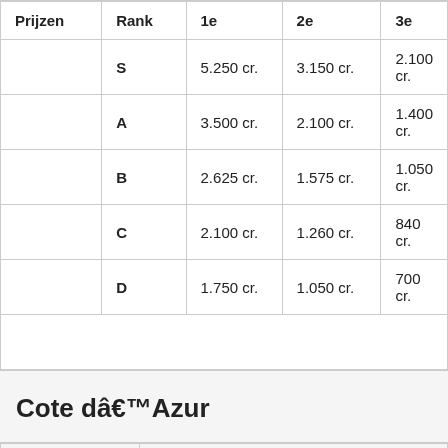| Prijzen | Rank | 1e | 2e | 3e |
| --- | --- | --- | --- | --- |
|  | S | 5.250 cr. | 3.150 cr. | 2.100 cr. |
|  | A | 3.500 cr. | 2.100 cr. | 1.400 cr. |
|  | B | 2.625 cr. | 1.575 cr. | 1.050 cr. |
|  | C | 2.100 cr. | 1.260 cr. | 840 cr. |
|  | D | 1.750 cr. | 1.050 cr. | 700 cr. |
|  |  |  |  |  |
Cote dâ€™Azur
| Lengte: | 2.08 Mile |
| Prijzen | Rank | 1e | 2e | 3e |
| --- | --- | --- | --- | --- |